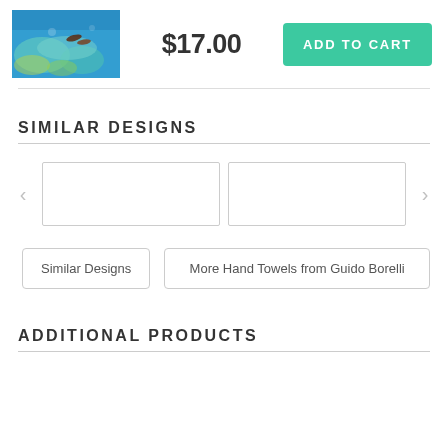[Figure (photo): Small thumbnail photo of an underwater scene with blue water, coral, and fish silhouettes]
$17.00
ADD TO CART
SIMILAR DESIGNS
[Figure (other): Carousel navigation area with left arrow, two empty image slots, and right arrow]
Similar Designs
More Hand Towels from Guido Borelli
ADDITIONAL PRODUCTS